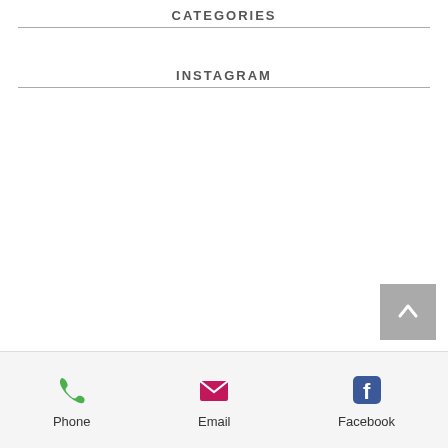CATEGORIES
INSTAGRAM
Phone  Email  Facebook